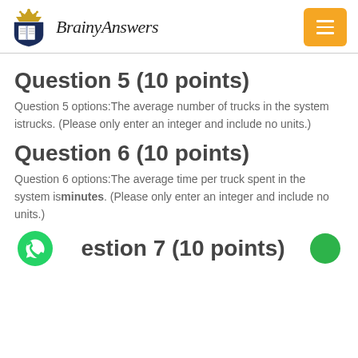BrainyAnswers
Question 5 (10 points)
Question 5 options:The average number of trucks in the system istrucks. (Please only enter an integer and include no units.)
Question 6 (10 points)
Question 6 options:The average time per truck spent in the system isminutes. (Please only enter an integer and include no units.)
Question 7 (10 points)